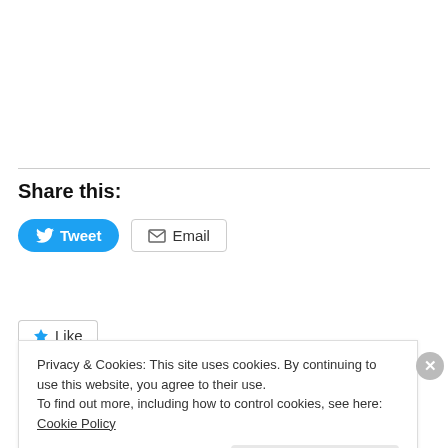Share this:
[Figure (screenshot): Tweet button (blue rounded) and Email button (grey outlined) for sharing]
[Figure (screenshot): Like tab button with star icon]
Privacy & Cookies: This site uses cookies. By continuing to use this website, you agree to their use.
To find out more, including how to control cookies, see here: Cookie Policy
Close and accept